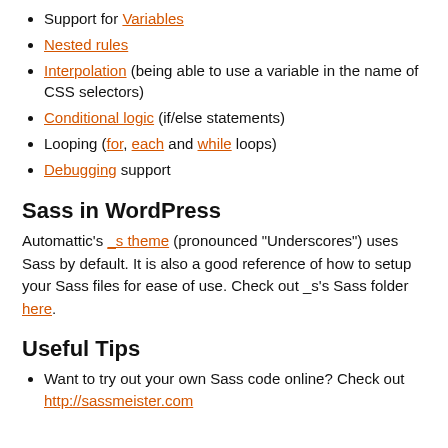Support for Variables
Nested rules
Interpolation (being able to use a variable in the name of CSS selectors)
Conditional logic (if/else statements)
Looping (for, each and while loops)
Debugging support
Sass in WordPress
Automattic’s _s theme (pronounced “Underscores”) uses Sass by default. It is also a good reference of how to setup your Sass files for ease of use. Check out _s’s Sass folder here.
Useful Tips
Want to try out your own Sass code online? Check out http://sassmeister.com